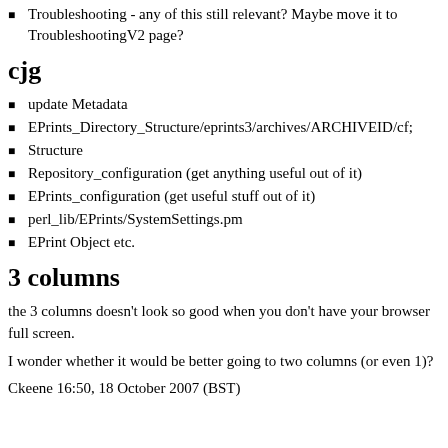Troubleshooting - any of this still relevant? Maybe move it to TroubleshootingV2 page?
cjg
update Metadata
EPrints_Directory_Structure/eprints3/archives/ARCHIVEID/cf;
Structure
Repository_configuration (get anything useful out of it)
EPrints_configuration (get useful stuff out of it)
perl_lib/EPrints/SystemSettings.pm
EPrint Object etc.
3 columns
the 3 columns doesn't look so good when you don't have your browser full screen.
I wonder whether it would be better going to two columns (or even 1)?
Ckeene 16:50, 18 October 2007 (BST)